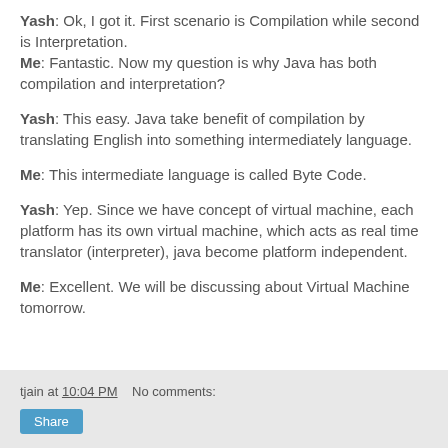Yash: Ok, I got it. First scenario is Compilation while second is Interpretation.
Me: Fantastic. Now my question is why Java has both compilation and interpretation?
Yash: This easy.  Java take benefit of compilation by translating English into something intermediately language.
Me: This intermediate language is called Byte Code.
Yash: Yep. Since we have concept of virtual machine, each platform has its own virtual machine, which acts as real time translator (interpreter), java become platform independent.
Me: Excellent. We will be discussing about Virtual Machine tomorrow.
tjain at 10:04 PM   No comments:   Share